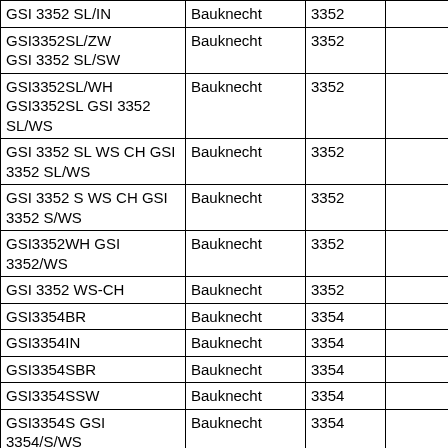|  |  |  |  |
| --- | --- | --- | --- |
| GSI 3352 SL/IN | Bauknecht | 3352 |  |
| GSI3352SL/ZW
GSI 3352 SL/SW | Bauknecht | 3352 |  |
| GSI3352SL/WH
GSI3352SL GSI 3352 SL/WS | Bauknecht | 3352 |  |
| GSI 3352 SL WS CH GSI 3352 SL/WS | Bauknecht | 3352 |  |
| GSI 3352 S WS CH GSI 3352 S/WS | Bauknecht | 3352 |  |
| GSI3352WH GSI 3352/WS | Bauknecht | 3352 |  |
| GSI 3352 WS-CH | Bauknecht | 3352 |  |
| GSI3354BR | Bauknecht | 3354 |  |
| GSI3354IN | Bauknecht | 3354 |  |
| GSI3354SBR | Bauknecht | 3354 |  |
| GSI3354SSW | Bauknecht | 3354 |  |
| GSI3354S GSI 3354/S/WS | Bauknecht | 3354 |  |
| GSI3354SIN | Bauknecht | 3354 |  |
| GSI 3354 SL/BR | Bauknecht | 3354 |  |
| GSI3354SLIN | Bauknecht | 3354 |  |